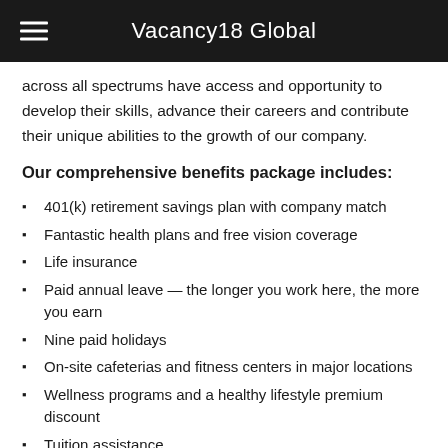Vacancy18 Global
across all spectrums have access and opportunity to develop their skills, advance their careers and contribute their unique abilities to the growth of our company.
Our comprehensive benefits package includes:
401(k) retirement savings plan with company match
Fantastic health plans and free vision coverage
Life insurance
Paid annual leave — the longer you work here, the more you earn
Nine paid holidays
On-site cafeterias and fitness centers in major locations
Wellness programs and a healthy lifestyle premium discount
Tuition assistance